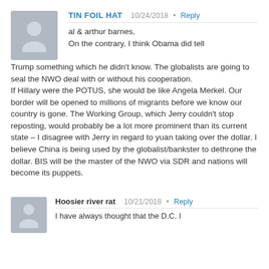[Figure (illustration): Gray avatar silhouette icon for user TIN FOIL HAT]
TIN FOIL HAT   10/24/2018  •  Reply
al & arthur barnes,
On the contrary, I think Obama did tell Trump something which he didn't know. The globalists are going to seal the NWO deal with or without his cooperation.
If Hillary were the POTUS, she would be like Angela Merkel. Our border will be opened to millions of migrants before we know our country is gone. The Working Group, which Jerry couldn't stop reposting, would probably be a lot more prominent than its current state – I disagree with Jerry in regard to yuan taking over the dollar. I believe China is being used by the globalist/bankster to dethrone the dollar. BIS will be the master of the NWO via SDR and nations will become its puppets.
[Figure (illustration): Gray avatar silhouette icon for user Hoosier river rat]
Hoosier river rat   10/21/2018  •  Reply